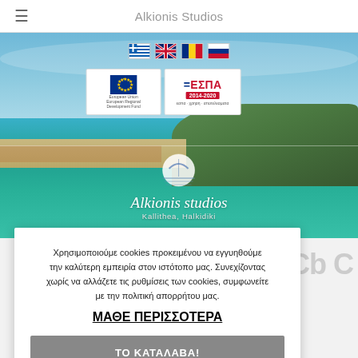Alkionis Studios
[Figure (screenshot): Hero image of Alkionis Studios website showing a coastal beach scene in Halkidiki with turquoise sea, beach with sunbeds, and a forested headland. Overlaid with language flags (Greek, English, Romanian, Russian), EU/ESPA 2014-2020 logos, and the Alkionis Studios logo with 'Kallithea, Halkidiki' tagline.]
Χρησιμοποιούμε cookies προκειμένου να εγγυηθούμε την καλύτερη εμπειρία στον ιστότοπο μας. Συνεχίζοντας χωρίς να αλλάξετε τις ρυθμίσεις των cookies, συμφωνείτε με την πολιτική απορρήτου μας.
ΜΑΘΕ ΠΕΡΙΣΣΟΤΕΡΑ
ΤΟ ΚΑΤΑΛΑΒΑ!